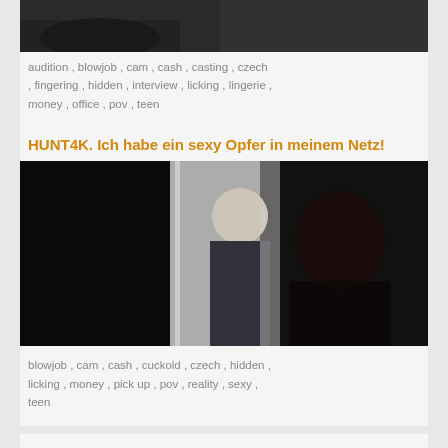[Figure (photo): Top partial image of two people at a desk, dark interior]
audition , blowjob , cam , cash , casting , czech , fingering , hidden , interview , licking , lingerie , money , office , pov , teen
HUNT4K. Ich habe ein sexy Opfer in meinem Netz!
[Figure (photo): Man in jacket looking through a doorway, dark-haired woman visible]
blowjob , cam , cash , cuckold , czech , hidden , licking , money , pick up , pov , reality , sexy , teen
HUNT4K. J&#039_ai attrap&eacute_une victime sexuelle dans mon filet
[Figure (photo): Outdoor city scene with sky and buildings, partial view]